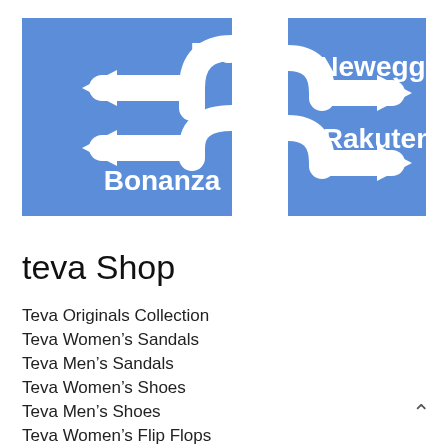[Figure (infographic): A blue road sign infographic showing directional arrows pointing to marketplace names: Etsy (left arrow upper), Bonanza (left arrow lower), Newegg (right arrow upper), Rakuten (right arrow lower). White arrows and bold white text on blue background.]
teva Shop
Teva Originals Collection
Teva Women's Sandals
Teva Men's Sandals
Teva Women's Shoes
Teva Men's Shoes
Teva Women's Flip Flops
Teva Men's Flip Flops